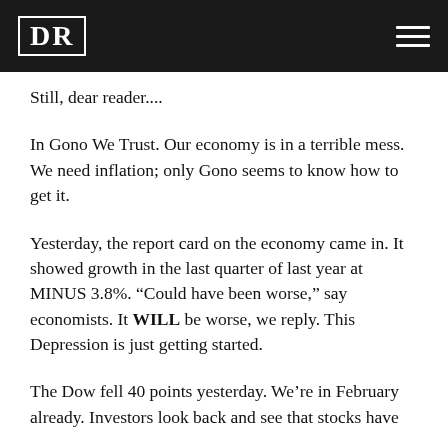DR
Still, dear reader....
In Gono We Trust. Our economy is in a terrible mess. We need inflation; only Gono seems to know how to get it.
Yesterday, the report card on the economy came in. It showed growth in the last quarter of last year at MINUS 3.8%. “Could have been worse,” say economists. It WILL be worse, we reply. This Depression is just getting started.
The Dow fell 40 points yesterday. We’re in February already. Investors look back and see that stocks have